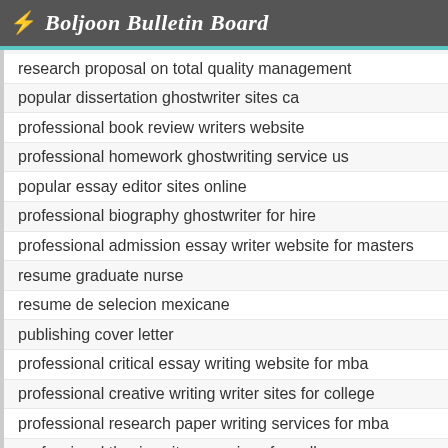Boljoon Bulletin Board
research proposal on total quality management
popular dissertation ghostwriter sites ca
professional book review writers website
professional homework ghostwriting service us
popular essay editor sites online
professional biography ghostwriter for hire
professional admission essay writer website for masters
resume graduate nurse
resume de selecion mexicane
publishing cover letter
professional critical essay writing website for mba
professional creative writing writer sites for college
professional research paper writing services for mba
professional thesis writers services for college
professional resume writers technology
professional creative writing ghostwriters website online
popular university thesis statement ideas
psychology essay editing website
research proposal ghostwriting sites gb
quote or underline essay titles